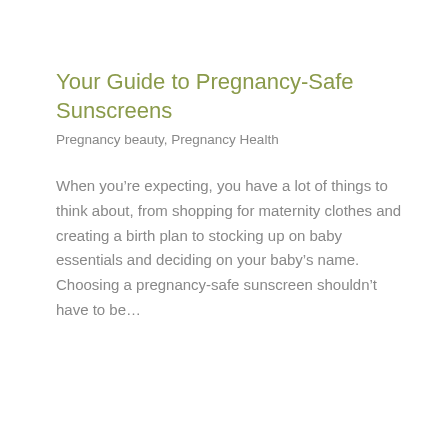Your Guide to Pregnancy-Safe Sunscreens
Pregnancy beauty, Pregnancy Health
When you’re expecting, you have a lot of things to think about, from shopping for maternity clothes and creating a birth plan to stocking up on baby essentials and deciding on your baby’s name. Choosing a pregnancy-safe sunscreen shouldn’t have to be…